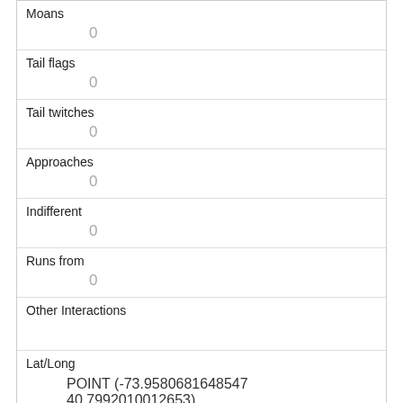| Moans | 0 |
| Tail flags | 0 |
| Tail twitches | 0 |
| Approaches | 0 |
| Indifferent | 0 |
| Runs from | 0 |
| Other Interactions |  |
| Lat/Long | POINT (-73.9580681648547 40.7992010012653) |
| Link | 1343 |
| rowid | 1343 |